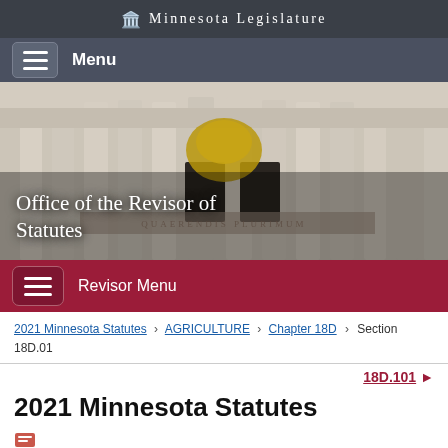Minnesota Legislature
Menu
[Figure (photo): Photograph of the Minnesota State Capitol building exterior with columns and golden sculpture, overlaid with text 'Office of the Revisor of Statutes']
Revisor Menu
2021 Minnesota Statutes > AGRICULTURE > Chapter 18D > Section 18D.01
18D.101
2021 Minnesota Statutes